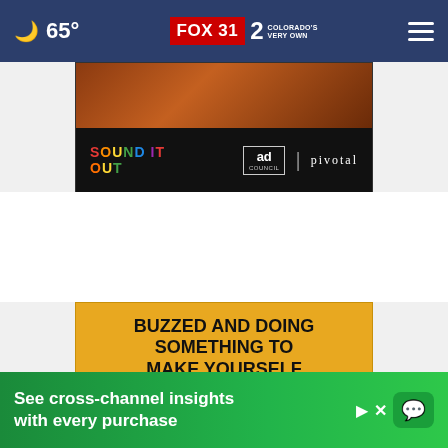65° FOX 31 2 COLORADO'S VERY OWN
[Figure (screenshot): Sound It Out ad banner with dark background, colorful text 'SOUND IT OUT', ad council logo, and pivotal ventures branding]
[Figure (screenshot): Gold background advertisement with bold black text 'BUZZED AND DOING SOMETHING TO MAKE YOURSELF OKAY TO DRIVE?' with close button]
[Figure (screenshot): Green advertisement banner: 'See cross-channel insights with every purchase' with arrow and chat bubble icon]